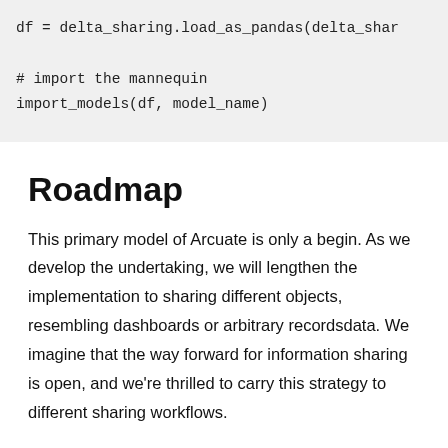df = delta_sharing.load_as_pandas(delta_shar

# import the mannequin
import_models(df, model_name)
Roadmap
This primary model of Arcuate is only a begin. As we develop the undertaking, we will lengthen the implementation to sharing different objects, resembling dashboards or arbitrary recordsdata. We imagine that the way forward for information sharing is open, and we're thrilled to carry this strategy to different sharing workflows.
Getting began with Arcuate